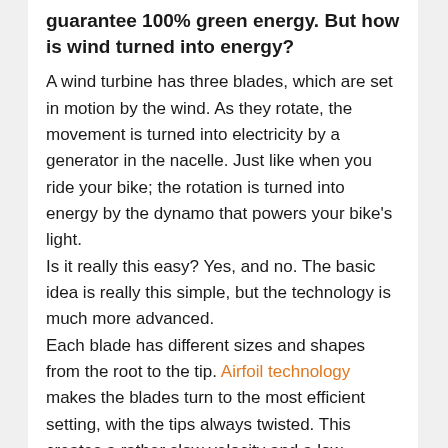guarantee 100% green energy. But how is wind turned into energy?
A wind turbine has three blades, which are set in motion by the wind. As they rotate, the movement is turned into electricity by a generator in the nacelle. Just like when you ride your bike; the rotation is turned into energy by the dynamo that powers your bike's light.
Is it really this easy? Yes, and no. The basic idea is really this simple, but the technology is much more advanced.
Each blade has different sizes and shapes from the root to the tip. Airfoil technology makes the blades turn to the most efficient setting, with the tips always twisted. This creates a rather slow velocity and a low number of RPM, resulting in low voltage energy when directly connected to the generator. A gearbox fastens the RPM, generating high voltage energy. A